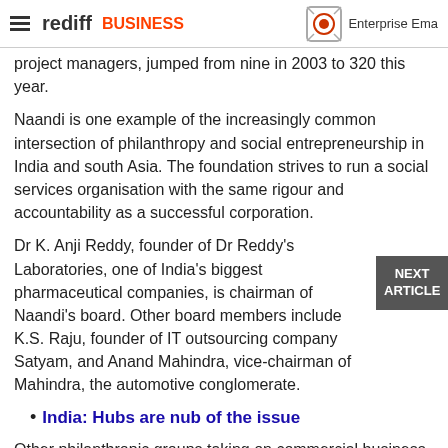rediff BUSINESS | Enterprise Email
project managers, jumped from nine in 2003 to 320 this year.
Naandi is one example of the increasingly common intersection of philanthropy and social entrepreneurship in India and south Asia. The foundation strives to run a social services organisation with the same rigour and accountability as a successful corporation.
Dr K. Anji Reddy, founder of Dr Reddy's Laboratories, one of India's biggest pharmaceutical companies, is chairman of Naandi's board. Other board members include K.S. Raju, founder of IT outsourcing company Satyam, and Anand Mahindra, vice-chairman of Mahindra, the automotive conglomerate.
India: Hubs are nub of the issue
Other philanthropic groups taking on commercial business models include the Bangladesh Rural Advancement Committee, and Grameen Bank. The bank, founded by microfinance pioneer Muhammad Yun...